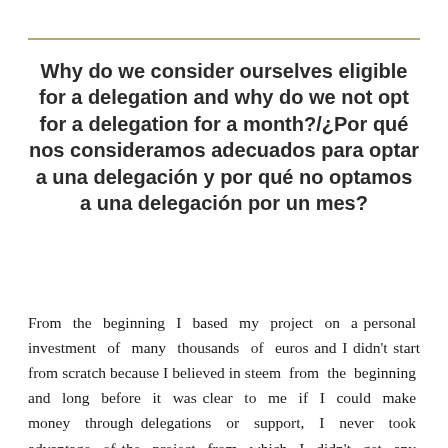Why do we consider ourselves eligible for a delegation and why do we not opt for a delegation for a month?/¿Por qué nos consideramos adecuados para optar a una delegación y por qué no optamos a una delegación por un mes?
From the beginning I based my project on a personal investment of many thousands of euros and I didn't start from scratch because I believed in steem from the beginning and long before it was clear to me if I could make money through delegations or support, I never took advantage of the project from which I didn't get any profit